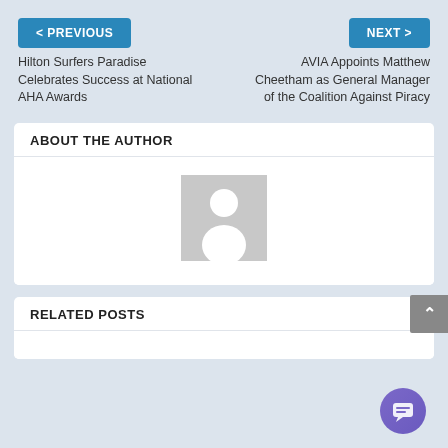< PREVIOUS
NEXT >
Hilton Surfers Paradise Celebrates Success at National AHA Awards
AVIA Appoints Matthew Cheetham as General Manager of the Coalition Against Piracy
ABOUT THE AUTHOR
[Figure (illustration): Generic user avatar placeholder image — grey background with white silhouette of a person]
RELATED POSTS